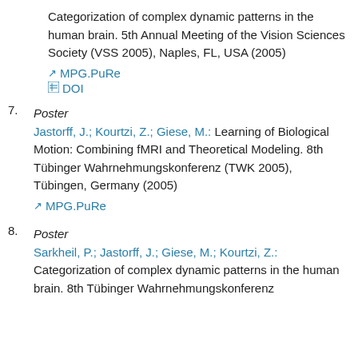Categorization of complex dynamic patterns in the human brain. 5th Annual Meeting of the Vision Sciences Society (VSS 2005), Naples, FL, USA (2005)
↗ MPG.PuRe
▣ DOI
7.
Poster
Jastorff, J.; Kourtzi, Z.; Giese, M.: Learning of Biological Motion: Combining fMRI and Theoretical Modeling. 8th Tübinger Wahrnehmungskonferenz (TWK 2005), Tübingen, Germany (2005)
↗ MPG.PuRe
8.
Poster
Sarkheil, P.; Jastorff, J.; Giese, M.; Kourtzi, Z.: Categorization of complex dynamic patterns in the human brain. 8th Tübinger Wahrnehmungskonferenz